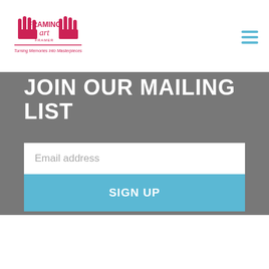[Figure (logo): Framing Art logo with two hands holding a frame and text 'FRAMING art FRAMER' with tagline 'Turning Memories Into Masterpieces']
[Figure (other): Hamburger menu icon made of three horizontal blue lines]
JOIN OUR MAILING LIST
Email address
SIGN UP